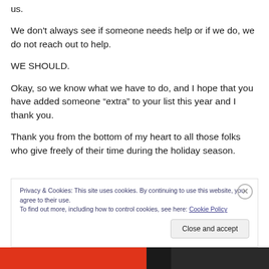us.
We don't always see if someone needs help or if we do, we do not reach out to help.
WE SHOULD.
Okay, so we know what we have to do, and I hope that you have added someone “extra” to your list this year and I thank you.
Thank you from the bottom of my heart to all those folks who give freely of their time during the holiday season.
Privacy & Cookies: This site uses cookies. By continuing to use this website, you agree to their use.
To find out more, including how to control cookies, see here: Cookie Policy
Close and accept